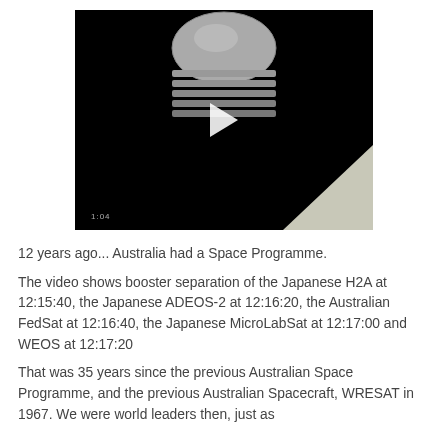[Figure (screenshot): Video thumbnail showing a dark black background with a satellite or rocket component (rounded cap with ridged rings) visible at the top center, a white play button triangle in the center, a triangular light-colored shape in the bottom right corner, and a timestamp '1:04' in the bottom left.]
12 years ago... Australia had a Space Programme.
The video shows booster separation of the Japanese H2A at 12:15:40, the Japanese ADEOS-2 at 12:16:20, the Australian FedSat at 12:16:40, the Japanese MicroLabSat at 12:17:00 and WEOS at 12:17:20
That was 35 years since the previous Australian Space Programme, and the previous Australian Spacecraft, WRESAT in 1967. We were world leaders then, just as